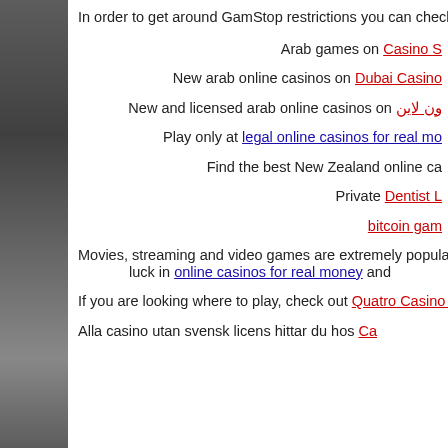In order to get around GamStop restrictions you can check ou
Arab games on Casino S
New arab online casinos on Dubai Casino
New and licensed arab online casinos on ون لاين
Play only at legal online casinos for real mo
Find the best New Zealand online ca
Private Dentist L
bitcoin gam
Movies, streaming and video games are extremely popular nowadays. A luck in online casinos for real money and
If you are looking where to play, check out Quatro Casino Q
Alla casino utan svensk licens hittar du hos Ca